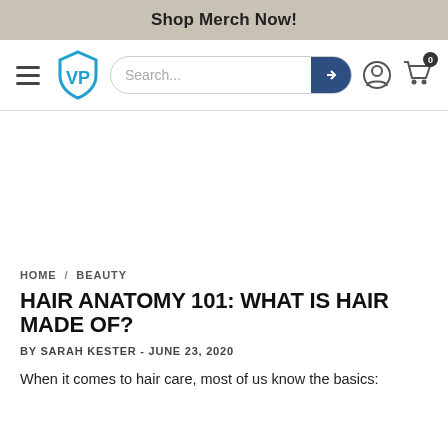Shop Merch Now!
[Figure (logo): Navigation bar with hamburger menu, VP shield logo, search bar with arrow button, user icon, and shopping cart icon with 0 badge]
[Figure (other): Blank white advertisement space]
HOME / BEAUTY
HAIR ANATOMY 101: WHAT IS HAIR MADE OF?
BY SARAH KESTER - JUNE 23, 2020
When it comes to hair care, most of us know the basics: